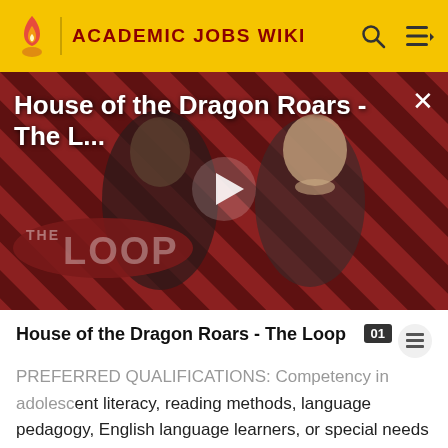ACADEMIC JOBS WIKI
[Figure (screenshot): Video thumbnail for 'House of the Dragon Roars - The L...' showing two characters from House of the Dragon TV show with a red diagonal striped background and 'THE LOOP' badge. A white play button triangle is centered on the image. An X close button appears top right.]
House of the Dragon Roars - The Loop
PREFERRED QUALIFICATIONS: Competency in adolescent literacy, reading methods, language pedagogy, English language learners, or special needs education. . . For consideration, apply online at: